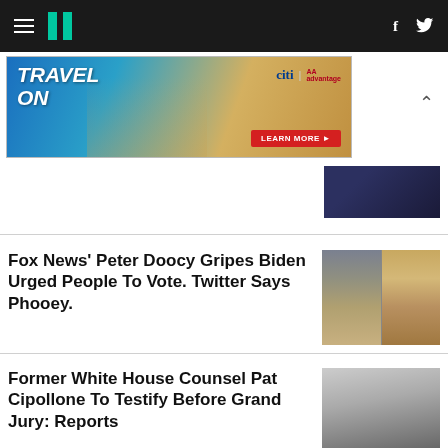HuffPost navigation bar with hamburger menu, logo, Facebook and Twitter icons
[Figure (illustration): Travel On advertisement banner - Citi AAdvantage, woman on beach, Learn More button]
[Figure (photo): Partial thumbnail of a person in dark suit, upper right corner]
Fox News' Peter Doocy Gripes Biden Urged People To Vote. Twitter Says Phooey.
[Figure (photo): Side-by-side photos of Joe Biden and Peter Doocy]
Former White House Counsel Pat Cipollone To Testify Before Grand Jury: Reports
[Figure (photo): Photo of Pat Cipollone looking upward]